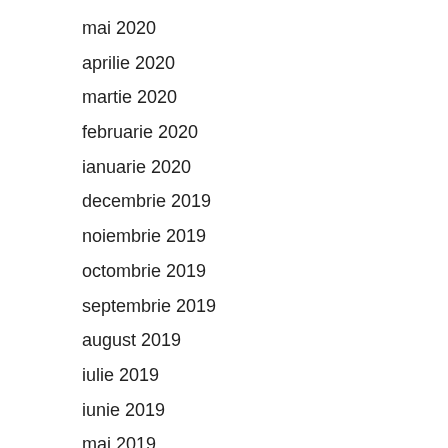mai 2020
aprilie 2020
martie 2020
februarie 2020
ianuarie 2020
decembrie 2019
noiembrie 2019
octombrie 2019
septembrie 2019
august 2019
iulie 2019
iunie 2019
mai 2019